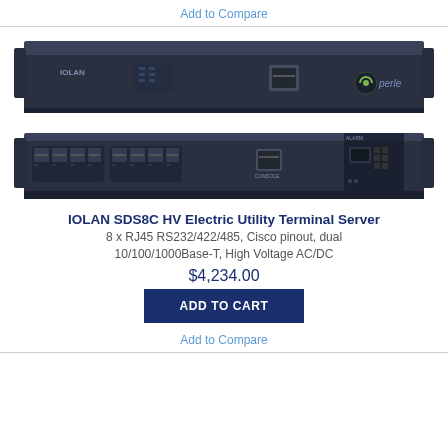Add to Compare
[Figure (photo): Front and rear views of the IOLAN SDS8C HV Electric Utility Terminal Server — a 1U rack-mount network device with dark metal chassis. Top image shows the front panel with IOLAN label, status LEDs, and an RJ45 port with Perle logo. Bottom image shows the back panel with 8 RJ45 serial ports, a console port, and a fiber/SFP module.]
IOLAN SDS8C HV Electric Utility Terminal Server
8 x RJ45 RS232/422/485, Cisco pinout, dual 10/100/1000Base-T, High Voltage AC/DC
$4,234.00
ADD TO CART
Add to Compare